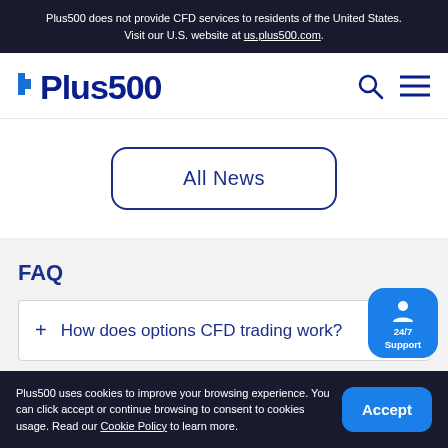Plus500 does not provide CFD services to residents of the United States. Visit our U.S. website at us.plus500.com.
[Figure (logo): Plus500 logo with blue cross symbol and bold dark blue text]
All News
FAQ
+ How does options CFD trading work?
Plus500 uses cookies to improve your browsing experience. You can click accept or continue browsing to consent to cookies usage. Read our Cookie Policy to learn more.